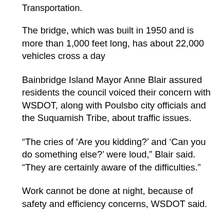Transportation.
The bridge, which was built in 1950 and is more than 1,000 feet long, has about 22,000 vehicles cross a day
Bainbridge Island Mayor Anne Blair assured residents the council voiced their concern with WSDOT, along with Poulsbo city officials and the Suquamish Tribe, about traffic issues.
“The cries of ‘Are you kidding?’ and ‘Can you do something else?’ were loud,” Blair said. “They are certainly aware of the difficulties.”
Work cannot be done at night, because of safety and efficiency concerns, WSDOT said.
Workers will remove “yards of hardened debris and animal droppings by hand, a time-consuming and labor-intensive process.”